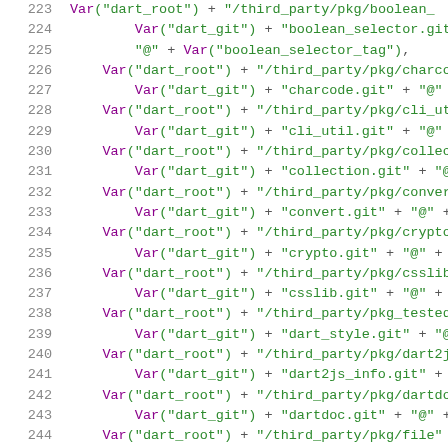Source code listing, lines 223-244, showing Dart build configuration with Var("dart_root") and Var("dart_git") expressions for various third-party packages.